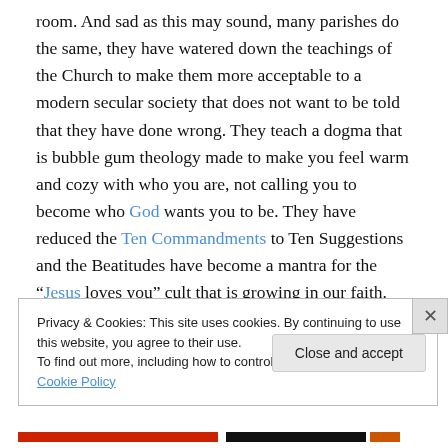room. And sad as this may sound, many parishes do the same, they have watered down the teachings of the Church to make them more acceptable to a modern secular society that does not want to be told that they have done wrong. They teach a dogma that is bubble gum theology made to make you feel warm and cozy with who you are, not calling you to become who God wants you to be. They have reduced the Ten Commandments to Ten Suggestions and the Beatitudes have become a mantra for the “Jesus loves you” cult that is growing in our faith.
Privacy & Cookies: This site uses cookies. By continuing to use this website, you agree to their use.
To find out more, including how to control cookies, see here: Cookie Policy
Close and accept